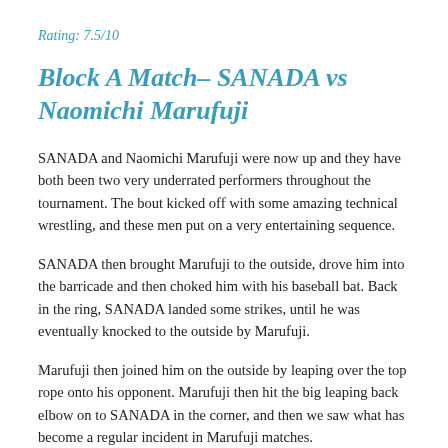Rating: 7.5/10
Block A Match– SANADA vs Naomichi Marufuji
SANADA and Naomichi Marufuji were now up and they have both been two very underrated performers throughout the tournament. The bout kicked off with some amazing technical wrestling, and these men put on a very entertaining sequence.
SANADA then brought Marufuji to the outside, drove him into the barricade and then choked him with his baseball bat. Back in the ring, SANADA landed some strikes, until he was eventually knocked to the outside by Marufuji.
Marufuji then joined him on the outside by leaping over the top rope onto his opponent. Marufuji then hit the big leaping back elbow on to SANADA in the corner, and then we saw what has become a regular incident in Marufuji matches.